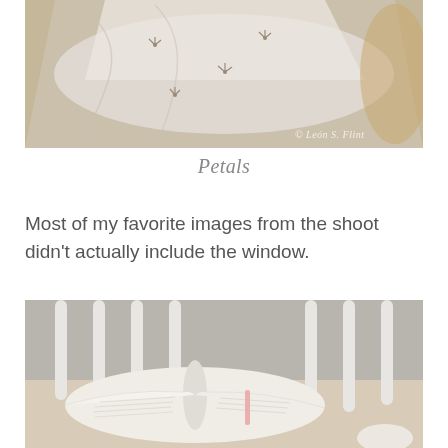[Figure (photo): A white fabric with small embroidered floral/butterfly motifs laid on a round wooden tray. Watermark reads '© León S. Flint' in bottom right corner.]
Petals
Most of my favorite images from the shoot didn't actually include the window.
[Figure (photo): An open book lying face-down on a round wooden surface, surrounded by white vertical chair/crib spindles in the background.]